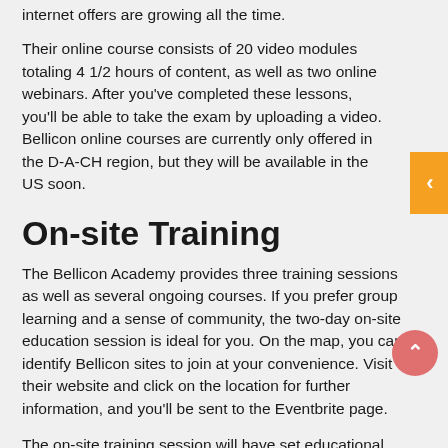internet offers are growing all the time.
Their online course consists of 20 video modules totaling 4 1/2 hours of content, as well as two online webinars. After you've completed these lessons, you'll be able to take the exam by uploading a video. Bellicon online courses are currently only offered in the D-A-CH region, but they will be available in the US soon.
On-site Training
The Bellicon Academy provides three training sessions as well as several ongoing courses. If you prefer group learning and a sense of community, the two-day on-site education session is ideal for you. On the map, you can identify Bellicon sites to join at your convenience. Visit their website and click on the location for further information, and you'll be sent to the Eventbrite page.
The on-site training session will have set educational dates, which will include two 8-hour days. On the second day of face-to-face instruction, you can take the on-site exam.